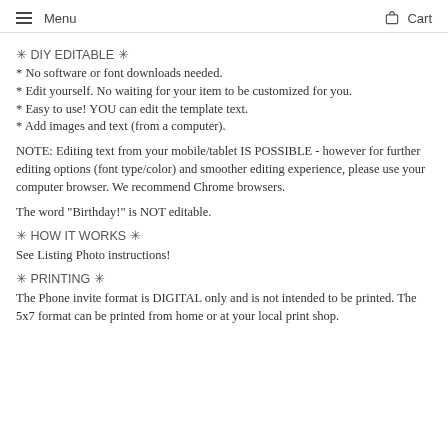Menu  Cart
✳ DIY EDITABLE ✳
* No software or font downloads needed.
* Edit yourself. No waiting for your item to be customized for you.
* Easy to use! YOU can edit the template text.
* Add images and text (from a computer).
NOTE: Editing text from your mobile/tablet IS POSSIBLE - however for further editing options (font type/color) and smoother editing experience, please use your computer browser. We recommend Chrome browsers.
The word "Birthday!" is NOT editable.
✳ HOW IT WORKS ✳
See Listing Photo instructions!
✳ PRINTING ✳
The Phone invite format is DIGITAL only and is not intended to be printed. The 5x7 format can be printed from home or at your local print shop.